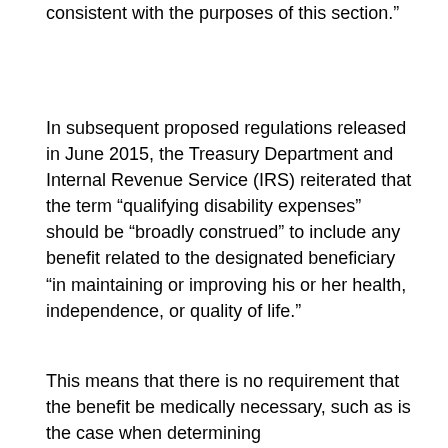consistent with the purposes of this section.”
In subsequent proposed regulations released in June 2015, the Treasury Department and Internal Revenue Service (IRS) reiterated that the term “qualifying disability expenses” should be “broadly construed” to include any benefit related to the designated beneficiary “in maintaining or improving his or her health, independence, or quality of life.”
This means that there is no requirement that the benefit be medically necessary, such as is the case when determining